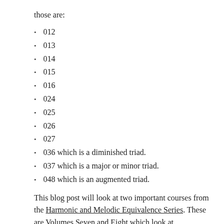those are:
012
013
014
015
016
024
025
026
027
036 which is a diminished triad.
037 which is a major or minor triad.
048 which is an augmented triad.
This blog post will look at two important courses from the Harmonic and Melodic Equivalence Series. These are Volumes Seven and Eight which look at combining two